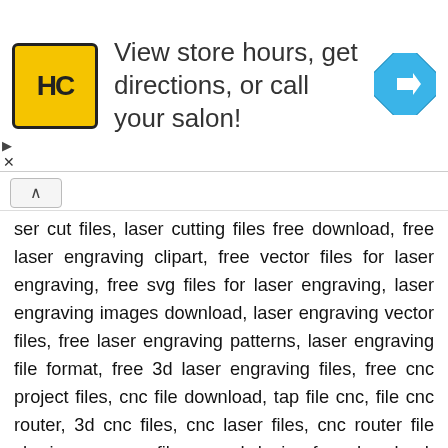[Figure (infographic): Advertisement banner with HC logo (yellow square with black HC text), ad text reading 'View store hours, get directions, or call your salon!', and a blue diamond-shaped direction arrow icon on the right.]
ser cut files, laser cutting files free download, free laser engraving clipart, free vector files for laser engraving, free svg files for laser engraving, laser engraving images download, laser engraving vector files, free laser engraving patterns, laser engraving file format, free 3d laser engraving files, free cnc project files, cnc file download, tap file cnc, file cnc router, 3d cnc files, cnc laser files, cnc router file sharing, cnc svg files, wood design free download, cnc 2d design free download, free dxf files, cnc dxf files, cnc files 3d, dxf downloads, free dxf files download, 2d dxf files free download, cnc dxf files free download, free dxf files 3d, free alphabet dxf files, free dxf files for laser engraving, house dxf file download, dxf files for laser cutting, flex design cdr file free download,urdu cdr file download, panaflex cdr file free download, template design cdr file free download, cdr